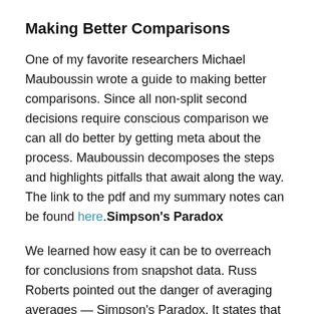Making Better Comparisons
One of my favorite researchers Michael Mauboussin wrote a guide to making better comparisons. Since all non-split second decisions require conscious comparison we can all do better by getting meta about the process. Mauboussin decomposes the steps and highlights pitfalls that await along the way. The link to the pdf and my summary notes can be found here.Simpson's Paradox
We learned how easy it can be to overreach for conclusions from snapshot data. Russ Roberts pointed out the danger of averaging averages — Simpson's Paradox. It states that the change in